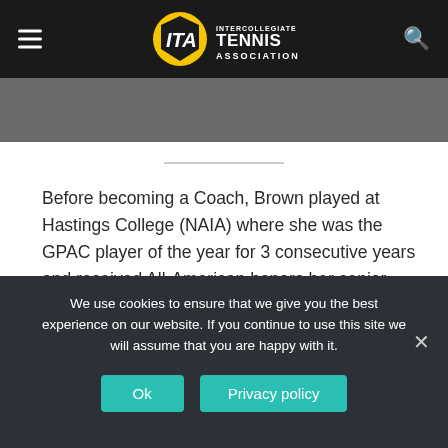ITA Intercollegiate Tennis Association
Before becoming a Coach, Brown played at Hastings College (NAIA) where she was the GPAC player of the year for 3 consecutive years and received All-American honors her senior year. As a coach, Brown has been just as impressive as in 2022 she helped lead both the Men’s and Women’s programs to historic seasons, including conference championships for both teams.
We use cookies to ensure that we give you the best experience on our website. If you continue to use this site we will assume that you are happy with it.